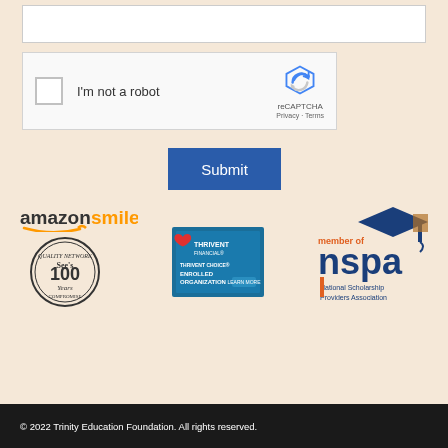[Figure (screenshot): White text input box, empty]
[Figure (screenshot): reCAPTCHA widget with checkbox labeled 'I'm not a robot' and reCAPTCHA logo with Privacy and Terms links]
[Figure (screenshot): Blue Submit button]
[Figure (logo): AmazonSmile logo in orange and black text]
[Figure (logo): See's Candies 100 Years circular logo in black and white]
[Figure (logo): Thrivent Financial - Thrivent Choice Enrolled Organization badge in blue and white]
[Figure (logo): Member of NSPA - National Scholarship Providers Association logo in blue and orange]
© 2022 Trinity Education Foundation. All rights reserved.